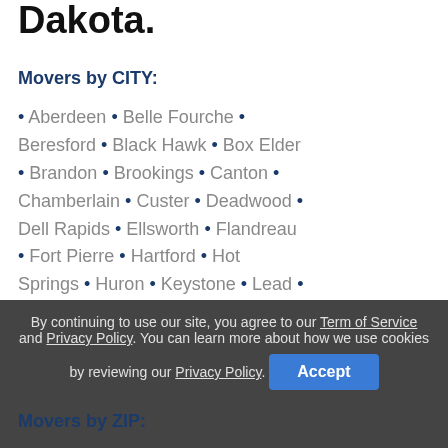Dakota.
Movers by CITY:
• Aberdeen • Belle Fourche • Beresford • Black Hawk • Box Elder • Brandon • Brookings • Canton • Chamberlain • Custer • Deadwood • Dell Rapids • Ellsworth • Flandreau • Fort Pierre • Hartford • Hot Springs • Huron • Keystone • Lead • Madison • Milbank • Mitchell • Mobridge • North Sioux City • Pierre • Pringle • Rapid City • Redfield • Sioux Falls • Sisseton • Spearfish • Sturgis • Vermillion • Watertown •
By continuing to use our site, you agree to our Term of Service and Privacy Policy. You can learn more about how we use cookies by reviewing our Privacy Policy.
Movers by ZIP: